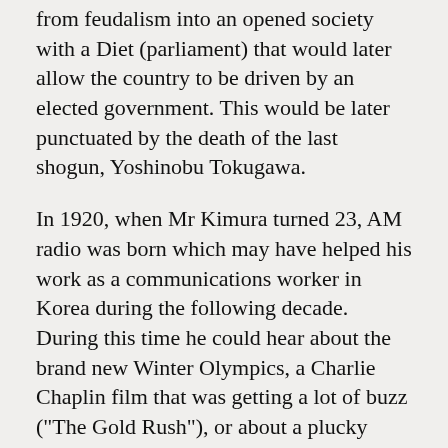from feudalism into an opened society with a Diet (parliament) that would later allow the country to be driven by an elected government. This would be later punctuated by the death of the last shogun, Yoshinobu Tokugawa.
In 1920, when Mr Kimura turned 23, AM radio was born which may have helped his work as a communications worker in Korea during the following decade. During this time he could hear about the brand new Winter Olympics, a Charlie Chaplin film that was getting a lot of buzz ("The Gold Rush"), or about a plucky young upstart company in Aichi Prefecture called Toyota.
When Mr Kimura returned from Korea, he got married and started building his family of seven children, aided by the invention of penicillin in 1928. Mr Kimura's children could also be